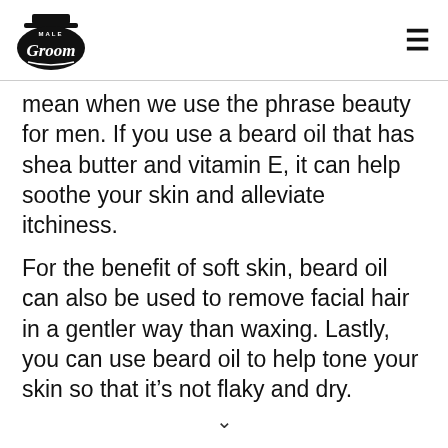[Figure (logo): Male Groom logo with top hat and cursive text]
mean when we use the phrase beauty for men. If you use a beard oil that has shea butter and vitamin E, it can help soothe your skin and alleviate itchiness.
For the benefit of soft skin, beard oil can also be used to remove facial hair in a gentler way than waxing. Lastly, you can use beard oil to help tone your skin so that it’s not flaky and dry.